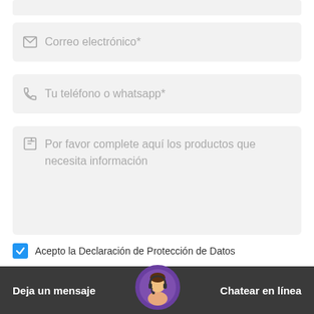[Figure (screenshot): Partial form field at top (cut off)]
Correo electrónico*
Tu teléfono o whatsapp*
Por favor complete aquí los productos que necesita información
Acepto la Declaración de Protección de Datos
ENVIAR AHORA
Deja un mensaje
Chatear en línea